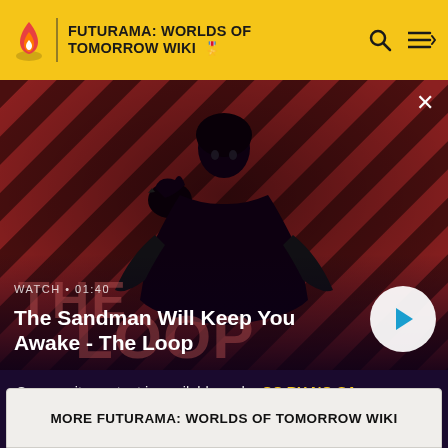FUTURAMA: WORLDS OF TOMORROW WIKI
[Figure (screenshot): Video thumbnail showing a dark-cloaked figure with a raven on shoulder against a red and dark diagonal striped background. Shows 'THE LOOP' text partially visible. Watch time shown as 01:40.]
The Sandman Will Keep You Awake - The Loop
Community content is available under CC BY-NC-SA 3.0 unless otherwise noted.
MORE FUTURAMA: WORLDS OF TOMORROW WIKI